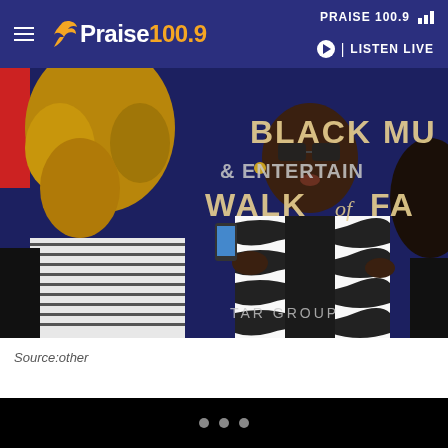PRAISE 100.9 — Praise 100.9 | LISTEN LIVE
[Figure (photo): A woman wearing sunglasses and a black and white patterned jacket speaks or gestures at what appears to be a Black Music & Entertainment Walk of Fame event. Another person with curly hair is in the foreground. A banner reading 'BLACK MU[SIC] & ENTERTAIN[MENT] WALK [OF] FA[ME]' and 'TAR GROUP' is visible in the background.]
Source:other
• • •